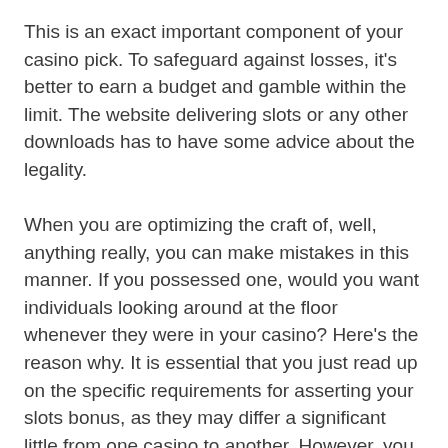This is an exact important component of your casino pick. To safeguard against losses, it's better to earn a budget and gamble within the limit. The website delivering slots or any other downloads has to have some advice about the legality.
When you are optimizing the craft of, well, anything really, you can make mistakes in this manner. If you possessed one, would you want individuals looking around at the floor whenever they were in your casino? Here's the reason why. It is essential that you just read up on the specific requirements for asserting your slots bonus, as they may differ a significant little from one casino to another. However, you will find times at which limping can be a good play, and also, one of the greatest